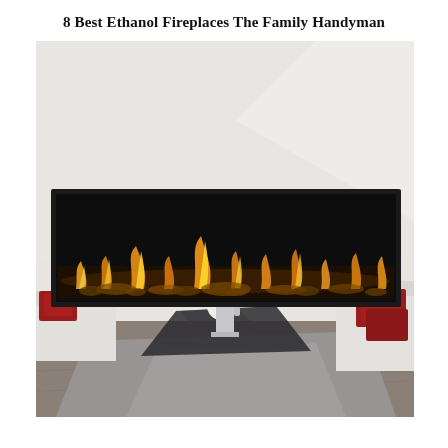8 Best Ethanol Fireplaces The Family Handyman
[Figure (photo): A modern living room featuring a wall-mounted linear ethanol fireplace with flames visible along the full width. The room has white walls, white sofas with red accent pillows on both sides, a dark glass coffee table with a white spherical object, and a gray area rug on a dark wood floor.]